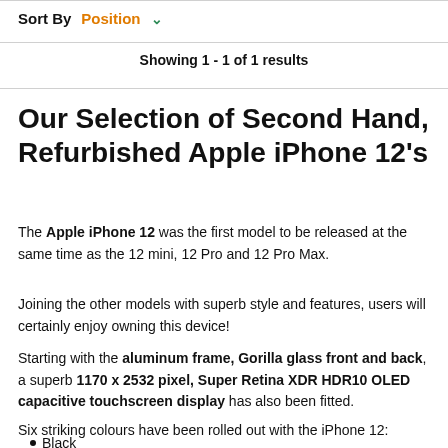Sort By  Position  ∨
Showing 1 - 1 of 1 results
Our Selection of Second Hand, Refurbished Apple iPhone 12's
The Apple iPhone 12 was the first model to be released at the same time as the 12 mini, 12 Pro and 12 Pro Max.
Joining the other models with superb style and features, users will certainly enjoy owning this device!
Starting with the aluminum frame, Gorilla glass front and back, a superb 1170 x 2532 pixel, Super Retina XDR HDR10 OLED capacitive touchscreen display has also been fitted.
Six striking colours have been rolled out with the iPhone 12:
Black